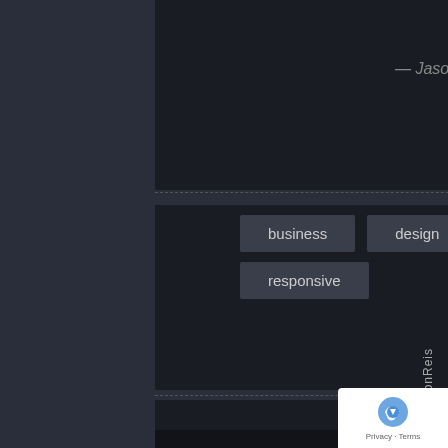— Jason Salvatore
business
design
responsive
by admin
EmersonReis →
Privacy · Terms